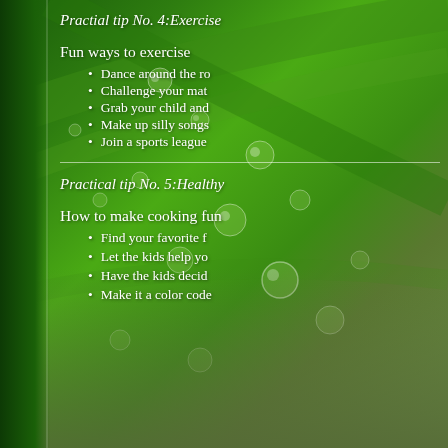[Figure (photo): Green leaf with water droplets background image]
Practial tip No. 4:Exercise
Fun ways to exercise
Dance around the ro
Challenge your mat
Grab your child and
Make up silly songs
Join a sports league
Practical tip No. 5:Healthy
How to make cooking fun
Find your favorite f
Let the kids help yo
Have the kids decid
Make it a color code